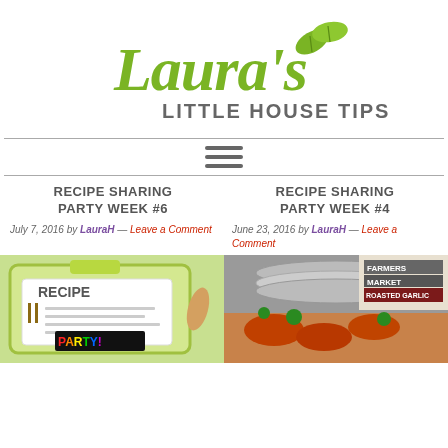[Figure (logo): Laura's Little House Tips logo with green script and leaf icons]
RECIPE SHARING PARTY WEEK #6
July 7, 2016 by LauraH — Leave a Comment
RECIPE SHARING PARTY WEEK #4
June 23, 2016 by LauraH — Leave a Comment
[Figure (photo): Recipe card clipart with PARTY text]
[Figure (photo): Food photo with Farmers Market Roasted Garlic sauce jar]